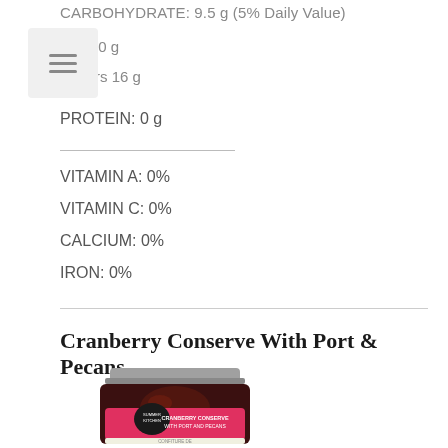CARBOHYDRATE: 9.5 g (5% Daily Value)
Fibre 0 g
Sugars 16 g
PROTEIN: 0 g
VITAMIN A: 0%
VITAMIN C: 0%
CALCIUM: 0%
IRON: 0%
Cranberry Conserve With Port & Pecans
[Figure (photo): Glass jar of Summer Kitchen Cranberry Conserve With Port and Pecans, dark red jam visible through the jar, pink label with brand logo]